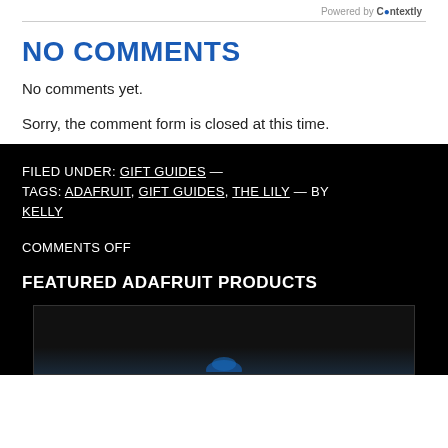Powered by Contextly
NO COMMENTS
No comments yet.
Sorry, the comment form is closed at this time.
FILED UNDER: GIFT GUIDES — TAGS: ADAFRUIT, GIFT GUIDES, THE LILY — BY KELLY
COMMENTS OFF
FEATURED ADAFRUIT PRODUCTS
[Figure (photo): Product image partially visible at bottom of page, dark background with blue element visible]